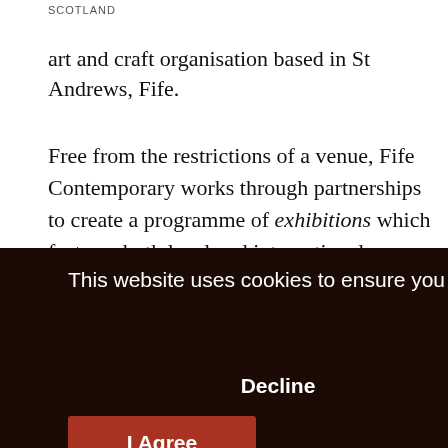SCOTLAND
art and craft organisation based in St Andrews, Fife.
Free from the restrictions of a venue, Fife Contemporary works through partnerships to create a programme of exhibitions which features both local and international makers, as well as engagement projects open to a wide public.
[Figure (screenshot): Cookie consent banner with dark brown background. Text reads: 'This website uses cookies to ensure you get the best experience on our website.' Buttons: 'Decline' (text) and 'I Agree' (red button). Behind the banner on the right side, partial text 't and' and ', a' are visible. At the bottom, partial text 'nd' and 'visual artists is provided through a dedicated information' are visible.]